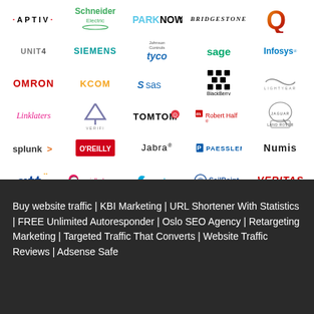[Figure (logo): Grid of company logos: APTIV, Schneider Electric, ParkNow, Bridgestone, Qu (partial), Unit4, Siemens, Johnson Controls Tyco, Sage, Infosys, OMRON, KCOM, SAS, BlackBerry, Lightyear, Linklaters, Verifi, TomTom, Robert Half, Jaguar Land Rover, Splunk, O'Reilly, Jabra, Paessler, Numis, GTT, Socialbakers, Zscaler, SailPoint, Veritas]
Buy website traffic | KBI Marketing | URL Shortener With Statistics | FREE Unlimited Autoresponder | Oslo SEO Agency | Retargeting Marketing | Targeted Traffic That Converts | Website Traffic Reviews | Adsense Safe